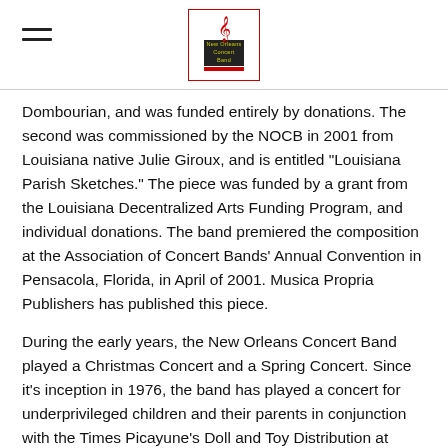[Logo: New Orleans Concert Band]
Dombourian, and was funded entirely by donations. The second was commissioned by the NOCB in 2001 from Louisiana native Julie Giroux, and is entitled "Louisiana Parish Sketches." The piece was funded by a grant from the Louisiana Decentralized Arts Funding Program, and individual donations. The band premiered the composition at the Association of Concert Bands' Annual Convention in Pensacola, Florida, in April of 2001. Musica Propria Publishers has published this piece.
During the early years, the New Orleans Concert Band played a Christmas Concert and a Spring Concert. Since it's inception in 1976, the band has played a concert for underprivileged children and their parents in conjunction with the Times Picayune's Doll and Toy Distribution at Christmas. The NOCB presently plays concerts for Veteran's Day, a Christmas concert, the concert for the